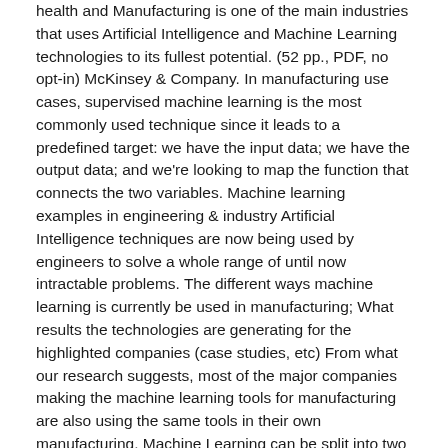health and Manufacturing is one of the main industries that uses Artificial Intelligence and Machine Learning technologies to its fullest potential. (52 pp., PDF, no opt-in) McKinsey & Company. In manufacturing use cases, supervised machine learning is the most commonly used technique since it leads to a predefined target: we have the input data; we have the output data; and we're looking to map the function that connects the two variables. Machine learning examples in engineering & industry Artificial Intelligence techniques are now being used by engineers to solve a whole range of until now intractable problems. The different ways machine learning is currently be used in manufacturing; What results the technologies are generating for the highlighted companies (case studies, etc) From what our research suggests, most of the major companies making the machine learning tools for manufacturing are also using the same tools in their own manufacturing. Machine Learning can be split into two main techniques – Supervised and Unsupervised machine learning.